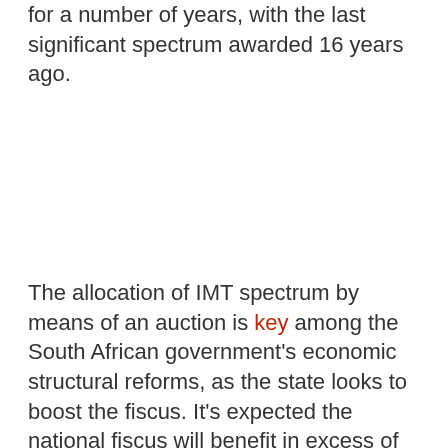for a number of years, with the last significant spectrum awarded 16 years ago.
The allocation of IMT spectrum by means of an auction is key among the South African government's economic structural reforms, as the state looks to boost the fiscus. It's expected the national fiscus will benefit in excess of R8 billion from the proceeds of the auction.